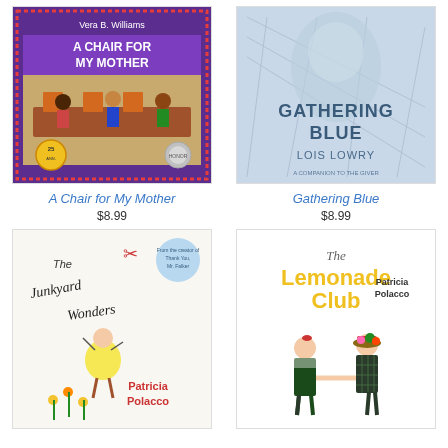[Figure (illustration): Book cover of 'A Chair for My Mother' by Vera B. Williams — purple background with illustrated diner/restaurant scene, 25th anniversary edition with Caldecott Honor medal]
A Chair for My Mother
$8.99
[Figure (illustration): Book cover of 'Gathering Blue' by Lois Lowry — light blue cover with face and spiderweb-like design, subtitle 'A Companion to The Giver']
Gathering Blue
$8.99
[Figure (illustration): Book cover of 'The Junkyard Wonders' by Patricia Polacco — illustrated cover with girl in yellow dress among flowers and garden]
[Figure (illustration): Book cover of 'The Lemonade Club' by Patricia Polacco — illustrated cover showing two girls in school uniforms holding hands, yellow title text]